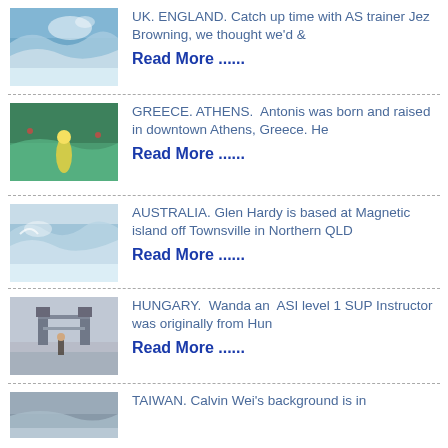[Figure (photo): Ocean wave with spray, surf scene from UK England]
UK. ENGLAND. Catch up time with AS trainer Jez Browning, we thought we'd &
Read More ......
[Figure (photo): Person paddleboarding or kitesurfing in green water, Greece Athens]
GREECE. ATHENS.  Antonis was born and raised in downtown Athens, Greece. He
Read More ......
[Figure (photo): Ocean wave breaking, Australia Magnetic Island]
AUSTRALIA. Glen Hardy is based at Magnetic island off Townsville in Northern QLD
Read More ......
[Figure (photo): Person standing near Tower Bridge, Hungary]
HUNGARY.  Wanda an  ASI level 1 SUP Instructor was originally from Hun
Read More ......
[Figure (photo): Coastal or water scene, Taiwan]
TAIWAN. Calvin Wei's background is in